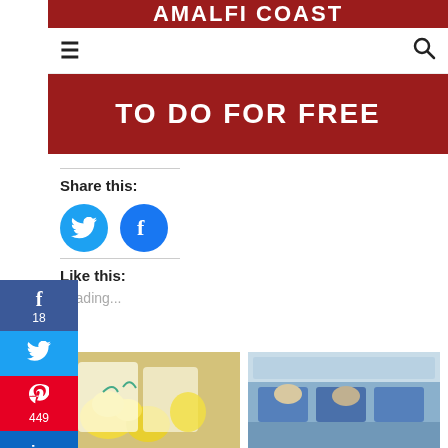[Figure (screenshot): Website header banner with 'AMALFI COAST' text in white on dark red background]
[Figure (screenshot): Navigation bar with hamburger menu icon on left and search icon on right]
[Figure (screenshot): Red banner with white bold text 'TO DO FOR FREE']
Share this:
[Figure (screenshot): Social share buttons: Twitter (blue circle with bird icon) and Facebook (blue circle with f icon)]
Like this:
Loading...
[Figure (screenshot): Left sidebar with social media share buttons: Facebook (18), Twitter, Pinterest (449), LinkedIn]
[Figure (photo): Photo of lemons and lemon products, possibly limoncello, on a table]
[Figure (photo): Photo of airplane interior with passengers seated in blue seats]